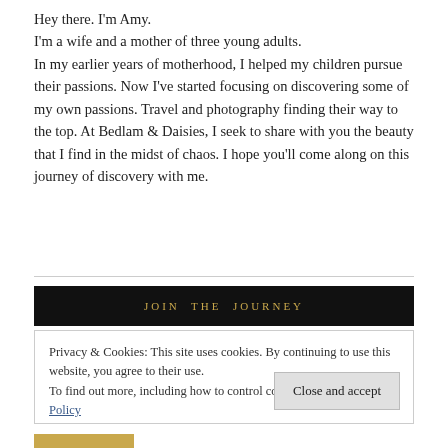Hey there. I'm Amy.
I'm a wife and a mother of three young adults.
In my earlier years of motherhood, I helped my children pursue their passions. Now I've started focusing on discovering some of my own passions. Travel and photography finding their way to the top. At Bedlam & Daisies, I seek to share with you the beauty that I find in the midst of chaos. I hope you'll come along on this journey of discovery with me.
JOIN THE JOURNEY
Privacy & Cookies: This site uses cookies. By continuing to use this website, you agree to their use.
To find out more, including how to control cookies, see here: Cookie Policy
Close and accept